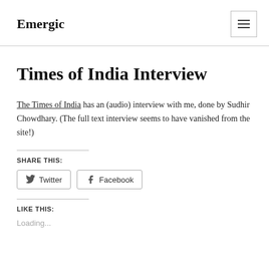Emergic
Times of India Interview
The Times of India has an (audio) interview with me, done by Sudhir Chowdhary. (The full text interview seems to have vanished from the site!)
SHARE THIS:
Twitter  Facebook
LIKE THIS:
Loading...